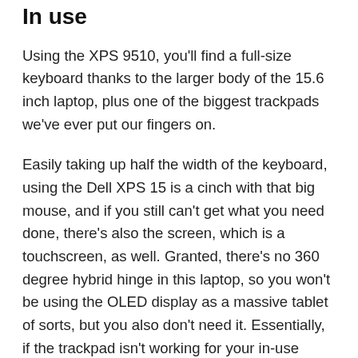In use
Using the XPS 9510, you'll find a full-size keyboard thanks to the larger body of the 15.6 inch laptop, plus one of the biggest trackpads we've ever put our fingers on.
Easily taking up half the width of the keyboard, using the Dell XPS 15 is a cinch with that big mouse, and if you still can't get what you need done, there's also the screen, which is a touchscreen, as well. Granted, there's no 360 degree hybrid hinge in this laptop, so you won't be using the OLED display as a massive tablet of sorts, but you also don't need it. Essentially, if the trackpad isn't working for your in-use experience, you can switch to touching and prodding the screen, and getting your fingerprints all over it.
There's also the keyboard, which is a little on the